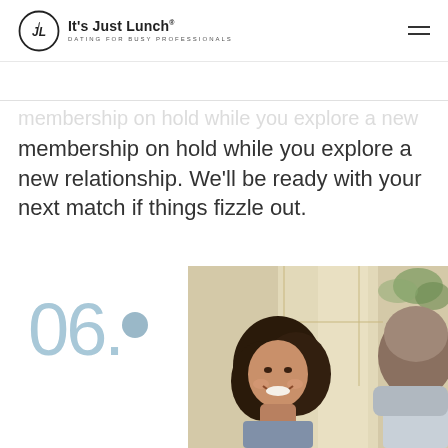It's Just Lunch® DATING FOR BUSY PROFESSIONALS
membership on hold while you explore a new relationship. We'll be ready with your next match if things fizzle out.
06.
[Figure (photo): A smiling woman with dark curly hair laughing across from a man, seated near a bright window with greenery in the background.]